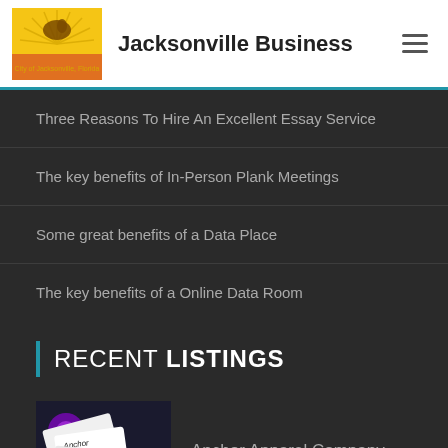Jacksonville Business
Three Reasons To Hire An Excellent Essay Service
The key benefits of In-Person Plank Meetings
Some great benefits of a Data Place
The key benefits of a Online Data Room
RECENT LISTINGS
Anchor Apparel Company